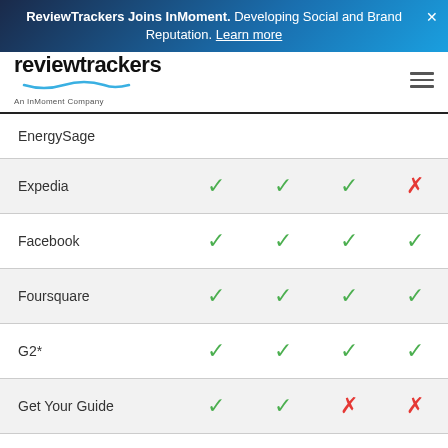ReviewTrackers Joins InMoment. Developing Social and Brand Reputation. Learn more
[Figure (logo): ReviewTrackers logo with tagline 'An InMoment Company']
| Platform | Col1 | Col2 | Col3 | Col4 |
| --- | --- | --- | --- | --- |
| EnergySage |  |  |  |  |
| Expedia | ✓ | ✓ | ✓ | ✗ |
| Facebook | ✓ | ✓ | ✓ | ✓ |
| Foursquare | ✓ | ✓ | ✓ | ✓ |
| G2* | ✓ | ✓ | ✓ | ✓ |
| Get Your Guide | ✓ | ✓ | ✗ | ✗ |
| GlassDoor** | ✓ | ✓ | ✓ | ✓ |